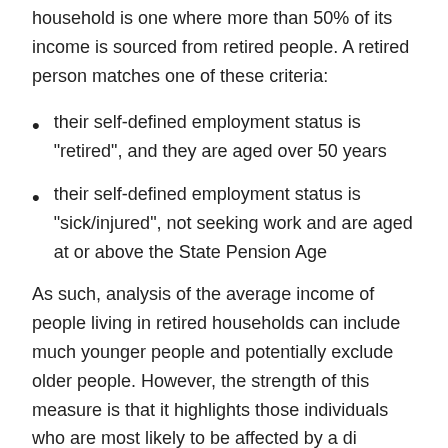household is one where more than 50% of its income is sourced from retired people. A retired person matches one of these criteria:
their self-defined employment status is "retired", and they are aged over 50 years
their self-defined employment status is "sick/injured", not seeking work and are aged at or above the State Pension Age
As such, analysis of the average income of people living in retired households can include much younger people and potentially exclude older people. However, the strength of this measure is that it highlights those individuals who are most likely to be affected by a di...